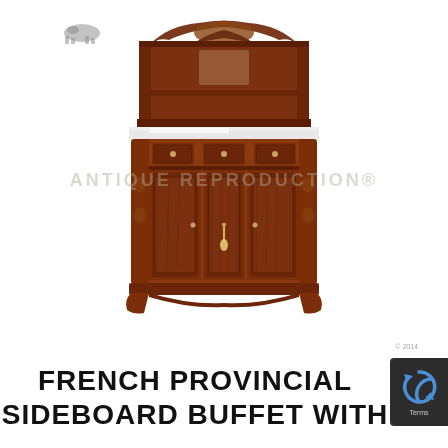[Figure (photo): Photograph of a French Provincial sideboard buffet with hutch top. A large ornate mahogany sideboard with carved decorative crest at the top, a hutch with open shelf above, white marble-like surface, three drawers, three cabinet doors below with carved details, and decorative carved side columns. A small antique-style logo appears in the upper left. A watermark reading 'ANTIQUE REPRODUCTION' is overlaid across the middle of the piece.]
FRENCH PROVINCIAL SIDEBOARD BUFFET WITH